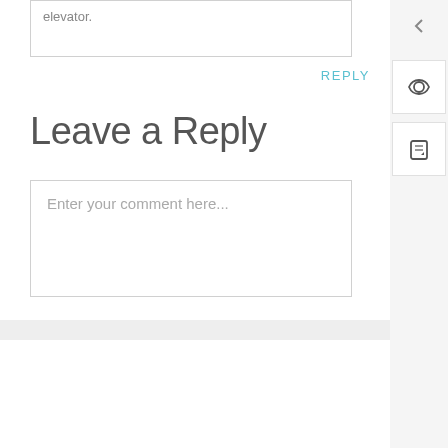elevator.
REPLY
Leave a Reply
Enter your comment here...
SUBSCRIBE TO PODCAST
Apple Podcasts →